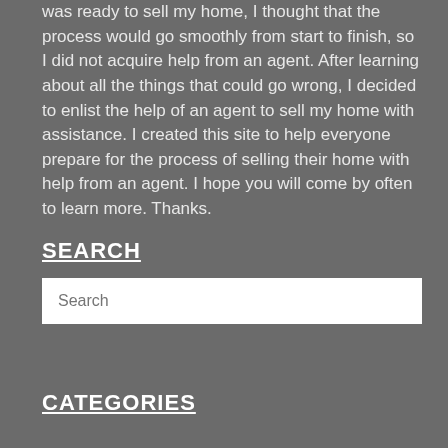was ready to sell my home, I thought that the process would go smoothly from start to finish, so I did not acquire help from an agent. After learning about all the things that could go wrong, I decided to enlist the help of an agent to sell my home with assistance. I created this site to help everyone prepare for the process of selling their home with help from an agent. I hope you will come by often to learn more. Thanks.
SEARCH
Search
CATEGORIES